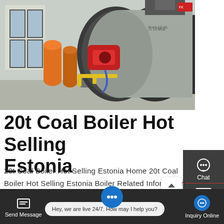[Figure (photo): Industrial boiler room with a large horizontal coal/gas boiler (Fangkuai brand, Chinese text visible), red burner attachment, yellow gas pipes, and water treatment equipment on the left. Indoor industrial facility with windows.]
20t Coal Boiler Hot Selling Estonia
20t Coal Boiler Hot Selling Estonia Home 20t Coal Boiler Hot Selling Estonia Boiler Related Information and updates on your eBay Feed + Update your shipping location AQUA-SIPHON STAINLESS STEEL WATER COIL FOR WOOD &